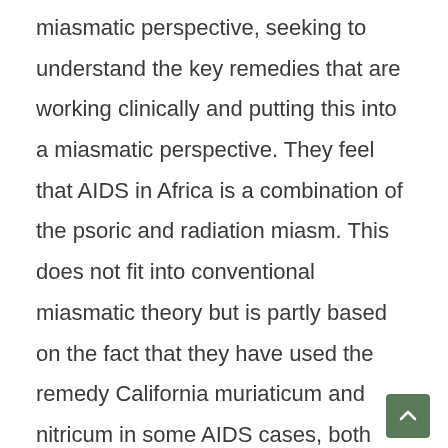miasmatic perspective, seeking to understand the key remedies that are working clinically and putting this into a miasmatic perspective. They feel that AIDS in Africa is a combination of the psoric and radiation miasm. This does not fit into conventional miasmatic theory but is partly based on the fact that they have used the remedy California muriaticum and nitricum in some AIDS cases, both belonging to the Lanthanides series of